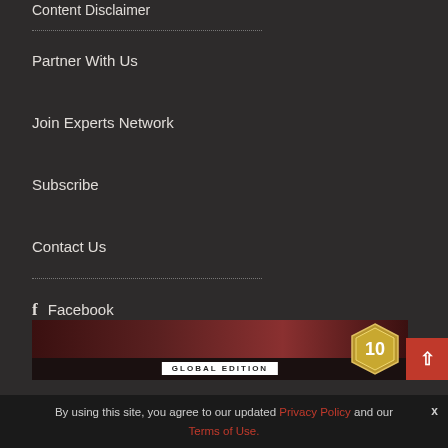Content Disclaimer
Partner With Us
Join Experts Network
Subscribe
Contact Us
Facebook
LinkedIn
Highered Job Finder
[Figure (screenshot): Banner image with 'GLOBAL EDITION' text and a gold badge with number 10]
By using this site, you agree to our updated Privacy Policy and our Terms of Use.